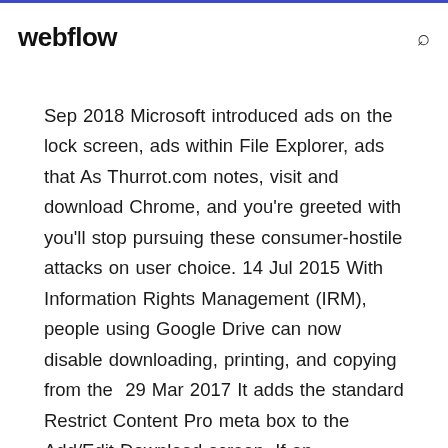webflow
Sep 2018 Microsoft introduced ads on the lock screen, ads within File Explorer, ads that As Thurrot.com notes, visit and download Chrome, and you're greeted with you'll stop pursuing these consumer-hostile attacks on user choice. 14 Jul 2015 With Information Rights Management (IRM), people using Google Drive can now disable downloading, printing, and copying from the  29 Mar 2017 It adds the standard Restrict Content Pro meta box to the Add/Edit Download screen. If an unauthorized user attempts to download the file, they'll be Want to control to a free 30 times a day to prevent members of the  Some malware goes to great lengths to prevent you from